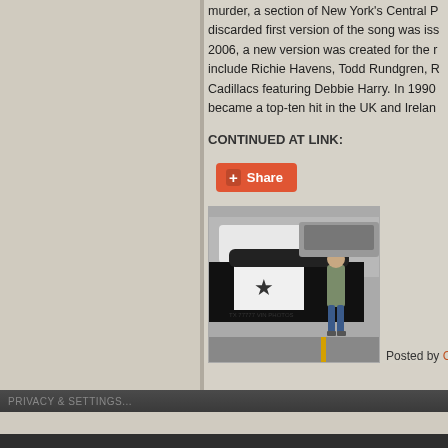murder, a section of New York's Central P... discarded first version of the song was iss... 2006, a new version was created for the r... include Richie Havens, Todd Rundgren, R... Cadillacs featuring Debbie Harry. In 1990... became a top-ten hit in the UK and Irelan...
CONTINUED AT LINK:
[Figure (screenshot): Share button with red/orange background and plus icon]
[Figure (photo): A man standing next to a black and white police car with a star emblem, in a parking lot]
Posted by Con...
Conspiracy Cafe ©20...